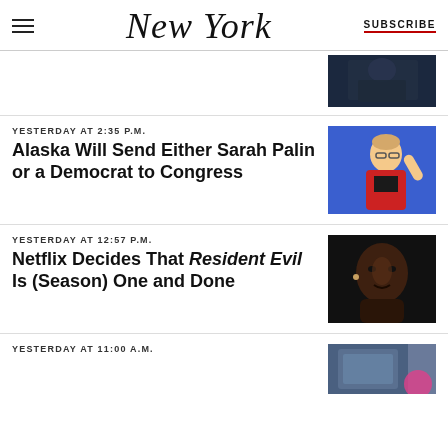New York | SUBSCRIBE
YESTERDAY AT 2:35 P.M.
Alaska Will Send Either Sarah Palin or a Democrat to Congress
[Figure (photo): Woman in red jacket waving, blonde hair up]
YESTERDAY AT 12:57 P.M.
Netflix Decides That Resident Evil Is (Season) One and Done
[Figure (photo): Close-up portrait of a woman with dark skin]
YESTERDAY AT 11:00 A.M.
[Figure (photo): Partial photo, person in denim jacket]